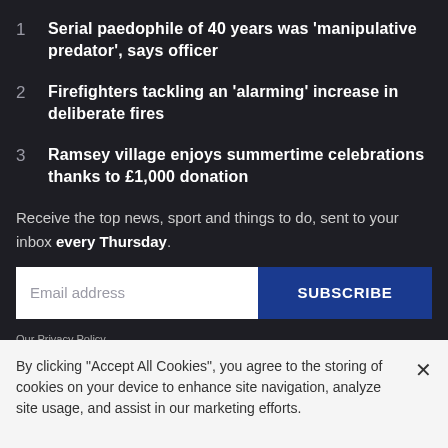1 Serial paedophile of 40 years was 'manipulative predator', says officer
2 Firefighters tackling an 'alarming' increase in deliberate fires
3 Ramsey village enjoys summertime celebrations thanks to £1,000 donation
Receive the top news, sport and things to do, sent to your inbox every Thursday.
Email address
SUBSCRIBE
Our Privacy Policy
By clicking "Accept All Cookies", you agree to the storing of cookies on your device to enhance site navigation, analyze site usage, and assist in our marketing efforts.